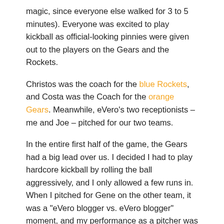magic, since everyone else walked for 3 to 5 minutes). Everyone was excited to play kickball as official-looking pinnies were given out to the players on the Gears and the Rockets.
Christos was the coach for the blue Rockets, and Costa was the Coach for the orange Gears. Meanwhile, eVero’s two receptionists – me and Joe – pitched for our two teams.
In the entire first half of the game, the Gears had a big lead over us. I decided I had to play hardcore kickball by rolling the ball aggressively, and I only allowed a few runs in. When I pitched for Gene on the other team, it was a “eVero blogger vs. eVero blogger” moment, and my performance as a pitcher was strong. (The next time when I pitch for the Rockets, I’ll play tough and won’t take it easy!)
During one of the final innings, we decided to find a way to make the greatest comeback ever. Keibway, Nathalie, Rob, and Danny had key moments to help our team’s comeback. Everyone fought hard and scored extra runs, despite exhaustion, to catch up. Steve